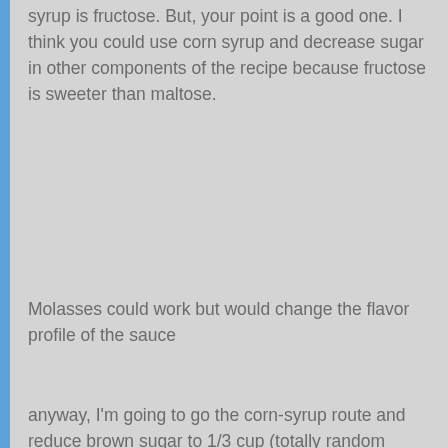syrup is fructose. But, your point is a good one. I think you could use corn syrup and decrease sugar in other components of the recipe because fructose is sweeter than maltose.
Molasses could work but would change the flavor profile of the sauce
anyway, I'm going to go the corn-syrup route and reduce brown sugar to 1/3 cup (totally random decrease but want to preserve the amount of corn syrup at original maltose amount for consistency purposes)
http://www.livestrong.com/arti…n-syrup-bad-for-you/